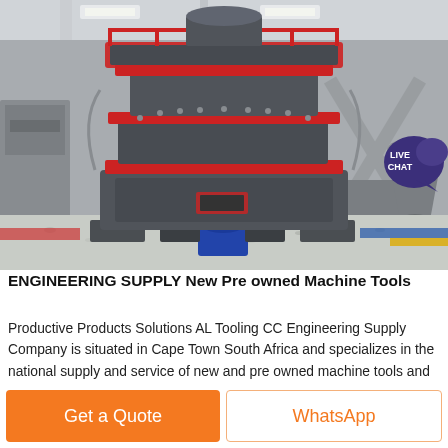[Figure (photo): Large industrial crushing/milling machine (vertical shaft impact crusher) in a factory/warehouse setting, surrounded by crushed aggregate material. The machine is dark grey with red structural accents. A 'LIVE CHAT' speech-bubble badge overlays the top-right corner of the image.]
ENGINEERING SUPPLY New Pre owned Machine Tools
Productive Products Solutions AL Tooling CC Engineering Supply Company is situated in Cape Town South Africa and specializes in the national supply and service of new and pre owned machine tools and accessories The company was established in 1986 and is family owned
Get a Quote
WhatsApp